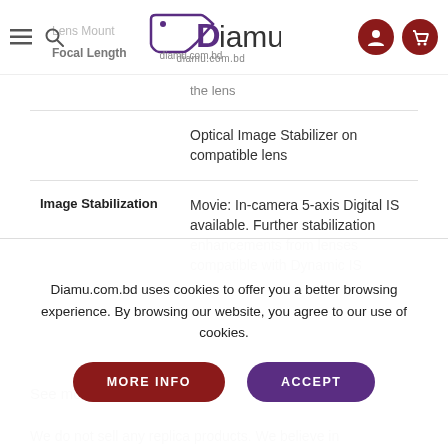[Figure (screenshot): Diamu.com.bd website header with hamburger menu, search icon, logo, user and cart icons]
| Property | Value |
| --- | --- |
| Lens Mount | ...focal length...the lens |
| Focal Length |  |
|  | Optical Image Stabilizer on compatible lens |
| Image Stabilization | Movie: In-camera 5-axis Digital IS available. Further stabilization enhancements from lenses compatible with Dynamic IS |
See more camera
We do not sell any replica products. We believe in
Diamu.com.bd uses cookies to offer you a better browsing experience. By browsing our website, you agree to our use of cookies.